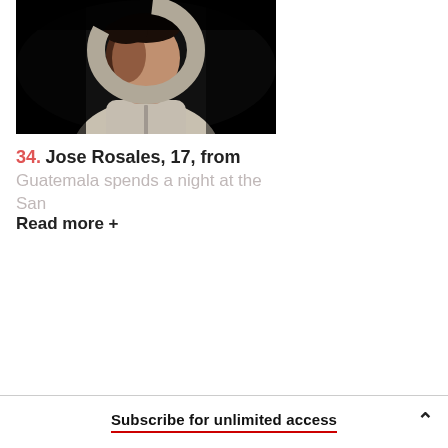[Figure (photo): Portrait photo of Jose Rosales, a 17-year-old from Guatemala, wearing a light-colored hoodie, photographed against a dark/black background in dramatic lighting.]
34. Jose Rosales, 17, from Guatemala spends a night at the San
Read more +
Subscribe for unlimited access